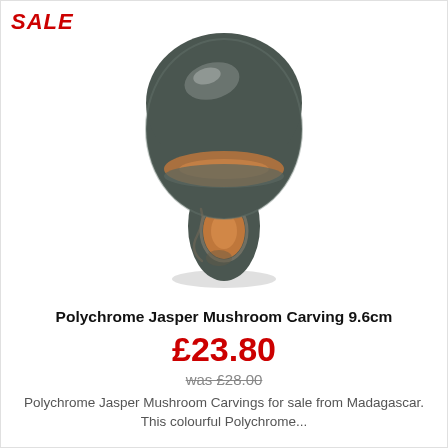[Figure (photo): A polychrome jasper mushroom carving approximately 9.6cm tall, showing a dark greenish-grey stone mushroom shape with orange and cream mineral inclusions visible on the cap and stem. A red italic SALE badge appears in the top-left corner.]
Polychrome Jasper Mushroom Carving 9.6cm
£23.80
was £28.00
Polychrome Jasper Mushroom Carvings for sale from Madagascar. This colourful Polychrome...